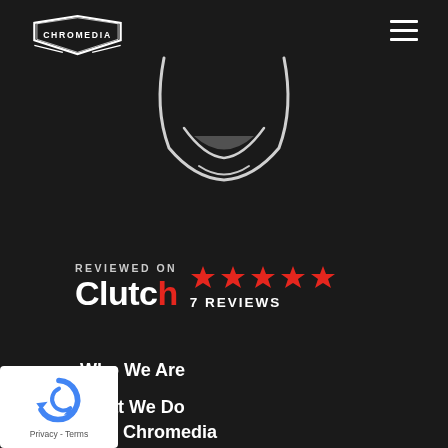[Figure (logo): Chromedia logo - badge/shield style with text CHROMEDIA, white on dark background]
[Figure (illustration): Partial face illustration showing a smile/grin in white line art on dark background]
[Figure (infographic): Clutch review badge: 'REVIEWED ON' text, 5 red stars, 'Clutch' logo in white bold text, '7 REVIEWS' label]
Who We Are
What We Do
Why Chromedia
[Figure (logo): Google reCAPTCHA badge showing blue reCAPTCHA icon with 'Privacy - Terms' text]